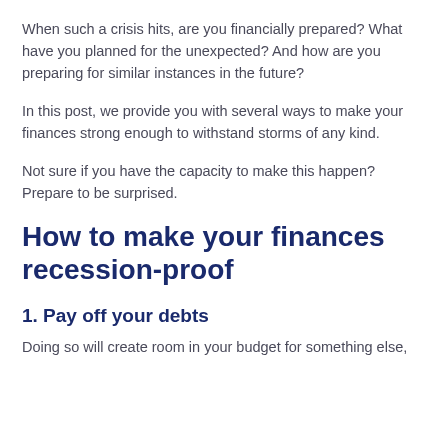When such a crisis hits, are you financially prepared? What have you planned for the unexpected? And how are you preparing for similar instances in the future?
In this post, we provide you with several ways to make your finances strong enough to withstand storms of any kind.
Not sure if you have the capacity to make this happen? Prepare to be surprised.
How to make your finances recession-proof
1. Pay off your debts
Doing so will create room in your budget for something else,